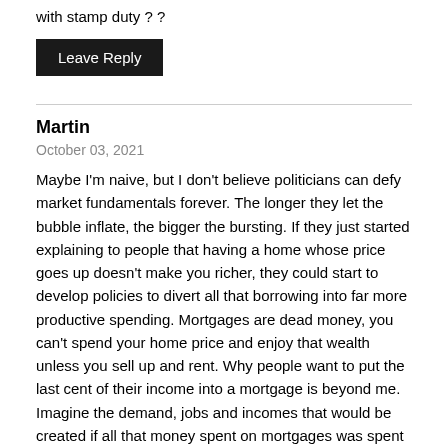with stamp duty ? ?
Leave Reply
Martin
October 03, 2021
Maybe I'm naive, but I don't believe politicians can defy market fundamentals forever. The longer they let the bubble inflate, the bigger the bursting. If they just started explaining to people that having a home whose price goes up doesn't make you richer, they could start to develop policies to divert all that borrowing into far more productive spending. Mortgages are dead money, you can't spend your home price and enjoy that wealth unless you sell up and rent. Why people want to put the last cent of their income into a mortgage is beyond me. Imagine the demand, jobs and incomes that would be created if all that money spent on mortgages was spent on goods and services instead. Australia would feel a far richer place in my opinion. I'm not sure if politicians are looking after voters with their policies to pump up property prices, or just themselves.
Leave Reply